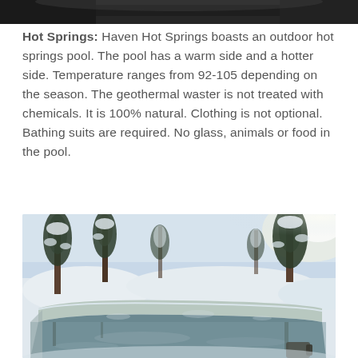[Figure (photo): Top portion of an outdoor photo, dark tones, appears to be a partial view of a car or roof edge against a sky]
Hot Springs:  Haven Hot Springs boasts an outdoor hot springs pool.  The pool has a warm side and a hotter side.  Temperature ranges from 92-105 depending on the season. The geothermal waster is not treated with chemicals.  It is 100% natural.  Clothing is not optional.  Bathing suits are required.  No glass, animals or food in the pool.
[Figure (photo): Outdoor hot springs pool in winter setting with snow-covered pine trees in the background and steam rising from the pool water]